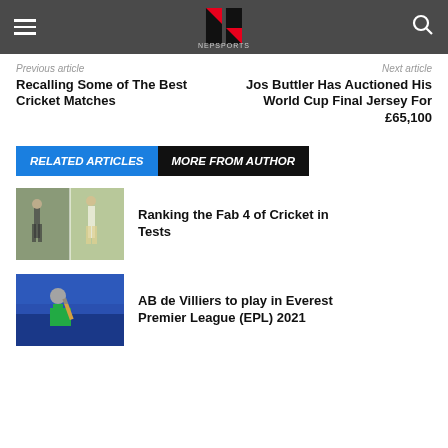NepSports navigation header with logo, hamburger menu, and search icon
Previous article
Next article
Recalling Some of The Best Cricket Matches
Jos Buttler Has Auctioned His World Cup Final Jersey For £65,100
RELATED ARTICLES   MORE FROM AUTHOR
[Figure (photo): Two cricket players in action, split image]
Ranking the Fab 4 of Cricket in Tests
[Figure (photo): Cricket player batting, blue background]
AB de Villiers to play in Everest Premier League (EPL) 2021